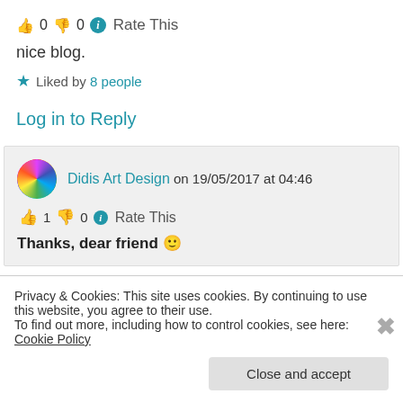👍 0 👎 0 ℹ Rate This
nice blog.
★ Liked by 8 people
Log in to Reply
Didis Art Design on 19/05/2017 at 04:46
👍 1 👎 0 ℹ Rate This
Thanks, dear friend 🙂
Privacy & Cookies: This site uses cookies. By continuing to use this website, you agree to their use.
To find out more, including how to control cookies, see here: Cookie Policy
Close and accept